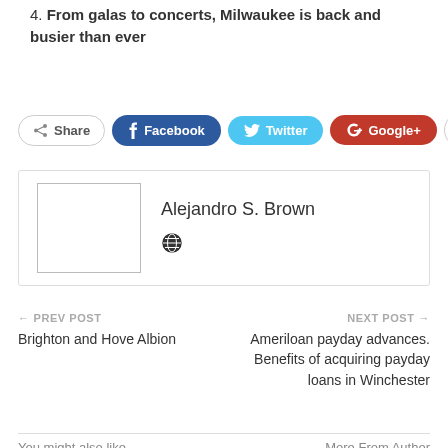4. From galas to concerts, Milwaukee is back and busier than ever
[Figure (infographic): Social sharing buttons: Share, Facebook, Twitter, Google+, and a plus button]
[Figure (other): Author bio box with placeholder photo and name Alejandro S. Brown with a globe icon]
← PREV POST
Brighton and Hove Albion
NEXT POST →
Ameriloan payday advances. Benefits of acquiring payday loans in Winchester
You might also like    More From Author